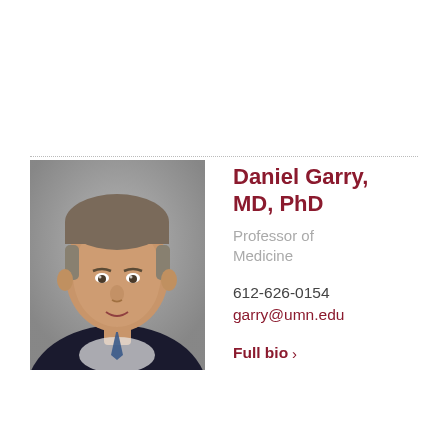[Figure (photo): Headshot photo of Daniel Garry, MD, PhD — a middle-aged man in a dark suit and tie, against a grey background]
Daniel Garry, MD, PhD
Professor of Medicine
612-626-0154
garry@umn.edu
Full bio